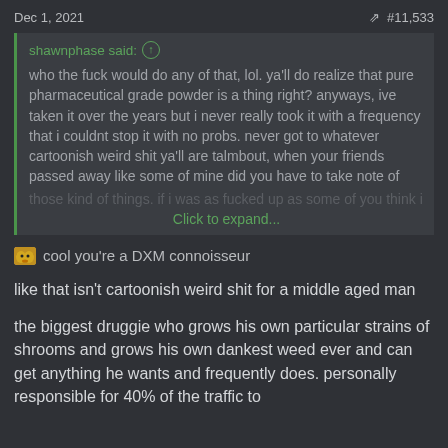Dec 1, 2021  #11,533
shawnphase said: ↑

who the fuck would do any of that, lol. ya'll do realize that pure pharmaceutical grade powder is a thing right? anyways, ive taken it over the years but i never really took it with a frequency that i couldnt stop it with no probs. never got to whatever cartoonish weird shit ya'll are talmbout, when your friends passed away like some of mine did you have to take note of those kind of things. if i was as fucked up as some of you think i
Click to expand...
cool you're a DXM connoisseur
like that isn't cartoonish weird shit for a middle aged man
the biggest druggie who grows his own particular strains of shrooms and grows his own dankest weed ever and can get anything he wants and frequently does. personally responsible for 40% of the traffic to